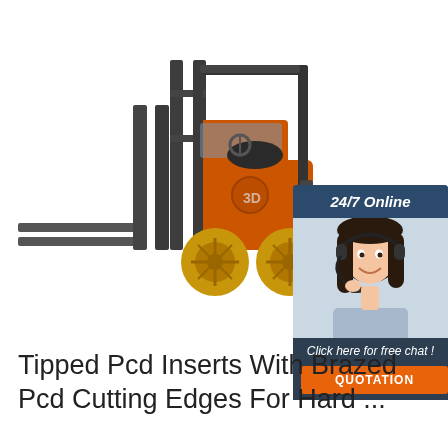[Figure (photo): Orange and dark grey forklift truck facing left on white background, with large yellow-orange wheels and extended forks. In the upper right, an overlaid chat widget shows '24/7 Online', a woman with a headset, 'Click here for free chat!' and an orange 'QUOTATION' button.]
Tipped Pcd Inserts With Brazed Pcd Cutting Edges For Hard ...